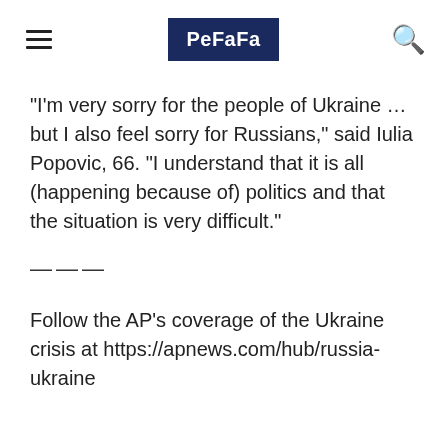PeFaFa
“I’m very sorry for the people of Ukraine … but I also feel sorry for Russians,” said Iulia Popovic, 66. “I understand that it is all (happening because of) politics and that the situation is very difficult.”
———
Follow the AP’s coverage of the Ukraine crisis at https://apnews.com/hub/russia-ukraine